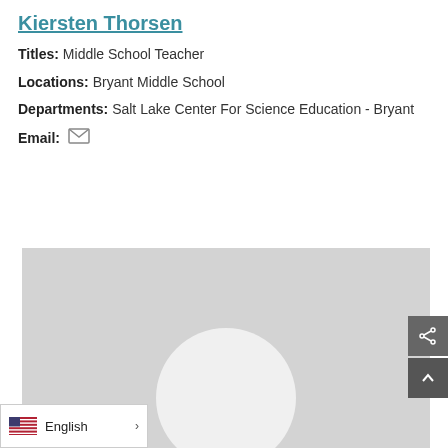Kiersten Thorsen
Titles: Middle School Teacher
Locations: Bryant Middle School
Departments: Salt Lake Center For Science Education - Bryant
Email: [email icon]
[Figure (photo): Profile photo placeholder with grey background and white circle silhouette]
English >